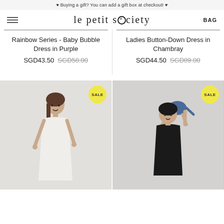♥ Buying a gift? You can add a gift box at checkout! ♥
le petit society
BAG
Rainbow Series - Baby Bubble Dress in Purple
SGD43.50  SGD58.00
Ladies Button-Down Dress in Chambray
SGD44.50  SGD89.00
[Figure (photo): Woman in a white dress, SALE badge visible]
[Figure (photo): Woman lifting a baby overhead, SALE badge visible]